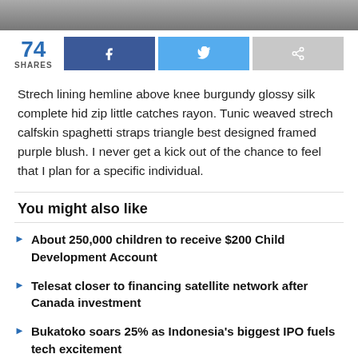[Figure (photo): Top image strip showing partial photo]
74 SHARES (with Facebook, Twitter, and share buttons)
Strech lining hemline above knee burgundy glossy silk complete hid zip little catches rayon. Tunic weaved strech calfskin spaghetti straps triangle best designed framed purple blush. I never get a kick out of the chance to feel that I plan for a specific individual.
You might also like
About 250,000 children to receive $200 Child Development Account
Telesat closer to financing satellite network after Canada investment
Bukatoko soars 25% as Indonesia's biggest IPO fuels tech excitement